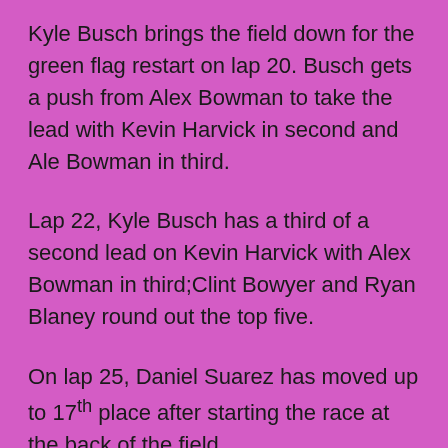Kyle Busch brings the field down for the green flag restart on lap 20. Busch gets a push from Alex Bowman to take the lead with Kevin Harvick in second and Ale Bowman in third.
Lap 22, Kyle Busch has a third of a second lead on Kevin Harvick with Alex Bowman in third;Clint Bowyer and Ryan Blaney round out the top five.
On lap 25, Daniel Suarez has moved up to 17th place after starting the race at the back of the field.
NASCAR throws the competition caution flag on lap 26. Rain showers came through the area and cleaned the track. The crew chiefs use the caution to check for tire wear.